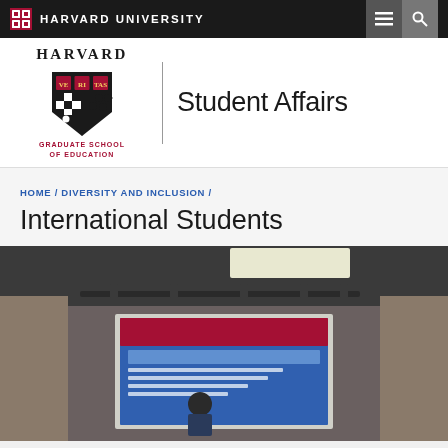HARVARD UNIVERSITY
[Figure (logo): Harvard Graduate School of Education logo with shield and 'Student Affairs' text]
HOME / DIVERSITY AND INCLUSION /
International Students
[Figure (photo): Photo of a person presenting at a conference or symposium, standing in front of a projection screen showing slides about China Education symposium, with track lighting visible on the ceiling]